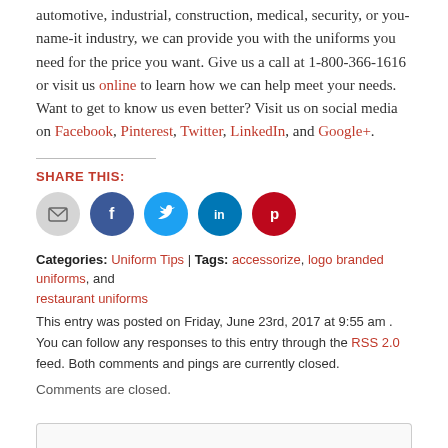automotive, industrial, construction, medical, security, or you-name-it industry, we can provide you with the uniforms you need for the price you want. Give us a call at 1-800-366-1616 or visit us online to learn how we can help meet your needs. Want to get to know us even better? Visit us on social media on Facebook, Pinterest, Twitter, LinkedIn, and Google+.
SHARE THIS:
[Figure (infographic): Row of 5 social sharing icon circles: email (gray), Facebook (dark blue), Twitter (light blue), LinkedIn (blue), Pinterest (red)]
Categories: Uniform Tips | Tags: accessorize, logo branded uniforms, and restaurant uniforms
This entry was posted on Friday, June 23rd, 2017 at 9:55 am . You can follow any responses to this entry through the RSS 2.0 feed. Both comments and pings are currently closed.
Comments are closed.